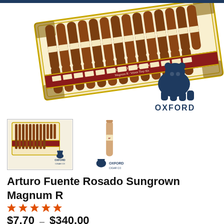[Figure (photo): A box of Arturo Fuente Rosado Sungrown cigars displayed open showing rows of brown cigars, with Oxford Cigar Co logo (bear illustration) in the lower right of the image]
[Figure (photo): Thumbnail image of cigar box open with Oxford Cigar Co logo]
[Figure (photo): Thumbnail image of a single cigar with Oxford Cigar Co logo below]
Arturo Fuente Rosado Sungrown Magnum R
[Figure (other): Five orange/red star rating icons]
$7.70 – $340.00